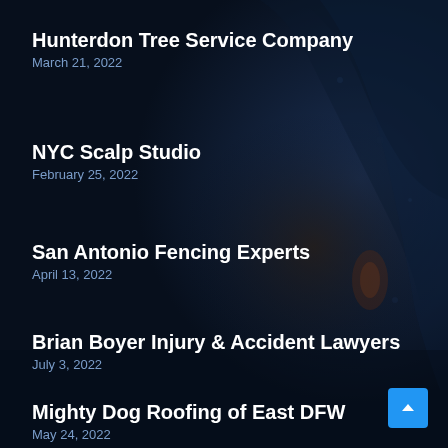[Figure (photo): Dark aerial forest/landscape background image with deep navy blue tones]
Hunterdon Tree Service Company
March 21, 2022
NYC Scalp Studio
February 25, 2022
San Antonio Fencing Experts
April 13, 2022
Brian Boyer Injury & Accident Lawyers
July 3, 2022
Mighty Dog Roofing of East DFW
May 24, 2022